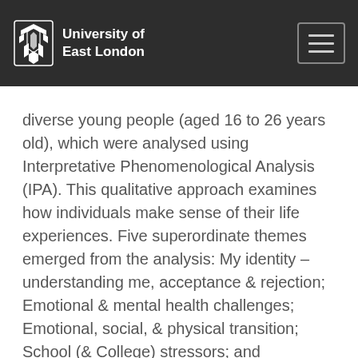University of East London
diverse young people (aged 16 to 26 years old), which were analysed using Interpretative Phenomenological Analysis (IPA). This qualitative approach examines how individuals make sense of their life experiences. Five superordinate themes emerged from the analysis: My identity – understanding me, acceptance & rejection; Emotional & mental health challenges; Emotional, social, & physical transition; School (& College) stressors; and Supportive solutions at school. Findings are discussed in relation to psychological research and theory, several areas for future research are identified. Findings are relevant to professionals, so that the needs of these young people are better understood, particularly those that work in education including school staff and